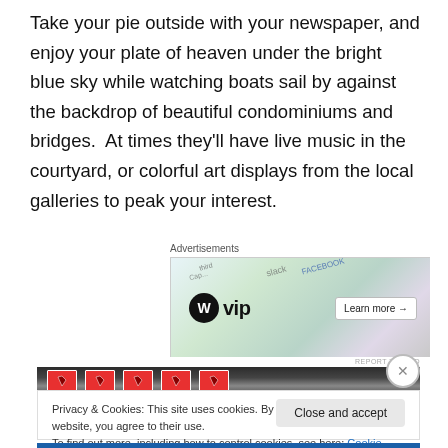Take your pie outside with your newspaper, and enjoy your plate of heaven under the bright blue sky while watching boats sail by against the backdrop of beautiful condominiums and bridges.  At times they'll have live music in the courtyard, or colorful art displays from the local galleries to peak your interest.
[Figure (screenshot): WordPress VIP advertisement banner with colorful background showing social media logos and a 'Learn more' button]
[Figure (photo): Dark photo strip showing hanging tags with red labels]
Privacy & Cookies: This site uses cookies. By continuing to use this website, you agree to their use.
To find out more, including how to control cookies, see here: Cookie Policy